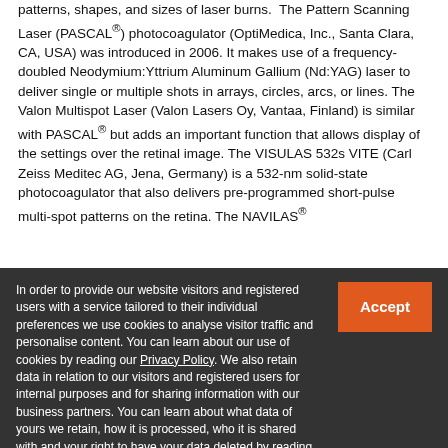patterns, shapes, and sizes of laser burns. The Pattern Scanning Laser (PASCAL®) photocoagulator (OptiMedica, Inc., Santa Clara, CA, USA) was introduced in 2006. It makes use of a frequency-doubled Neodymium:Yttrium Aluminum Gallium (Nd:YAG) laser to deliver single or multiple shots in arrays, circles, arcs, or lines. The Valon Multispot Laser (Valon Lasers Oy, Vantaa, Finland) is similar with PASCAL® but adds an important function that allows display of the settings over the retinal image. The VISULAS 532s VITE (Carl Zeiss Meditec AG, Jena, Germany) is a 532-nm solid-state photocoagulator that also delivers pre-programmed short-pulse multi-spot patterns on the retina. The NAVILAS®
In order to provide our website visitors and registered users with a service tailored to their individual preferences we use cookies to analyse visitor traffic and personalise content. You can learn about our use of cookies by reading our Privacy Policy. We also retain data in relation to our visitors and registered users for internal purposes and for sharing information with our business partners. You can learn about what data of yours we retain, how it is processed, who it is shared with and your right to have your data deleted by reading our Privacy Policy.
If you agree to our use of cookies and the contents of our Privacy Policy please click 'accept'.